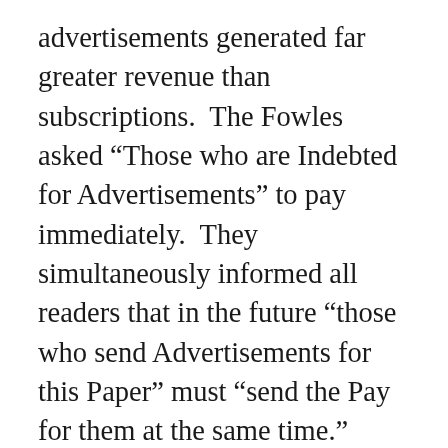advertisements generated far greater revenue than subscriptions. The Fowles asked “Those who are Indebted for Advertisements” to pay immediately. They simultaneously informed all readers that in the future “those who send Advertisements for this Paper” must “send the Pay for them at the same time.” Those who did not do so “must not take it amiss, if they are not publish’d.” The printers may or may not have intended to follow through on this threat. At one point they warned that they would publish a list of customers who owed money if they did not settle accounts in the next couple of weeks. That list never appeared in the New-Hampshire Gazette. It seems unlikely that everyone paid, but perhaps cajoling by the